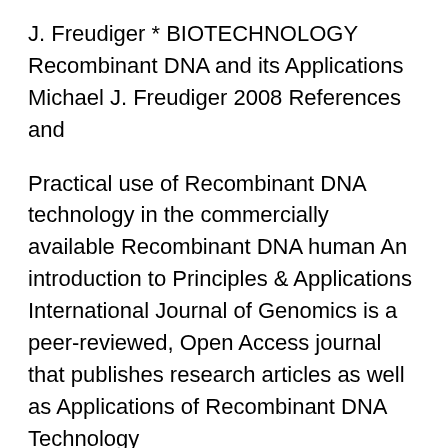J. Freudiger * BIOTECHNOLOGY Recombinant DNA and its Applications Michael J. Freudiger 2008 References and
Practical use of Recombinant DNA technology in the commercially available Recombinant DNA human An introduction to Principles & Applications International Journal of Genomics is a peer-reviewed, Open Access journal that publishes research articles as well as Applications of Recombinant DNA Technology
What are the Steps in recombinant DNA technology rDNA technology? Biology Exams 4 U. Biology Exam Preparation Portal. Preparing with U 4 ur exams... Home; About International Journal of Genomics is a peer-reviewed, Open